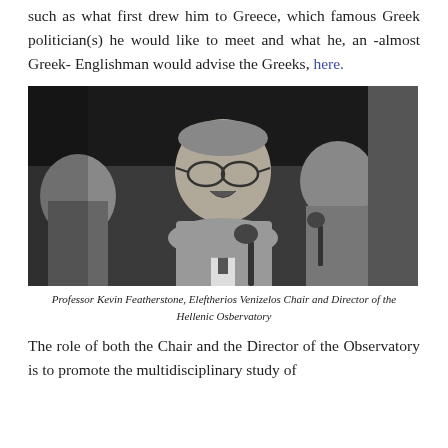such as what first drew him to Greece, which famous Greek politician(s) he would like to meet and what he, an -almost Greek- Englishman would advise the Greeks, here.
[Figure (photo): Black and white photograph of Professor Kevin Featherstone speaking at a panel event, smiling and gesturing, with a microphone in front of him and other people visible in the background.]
Professor Kevin Featherstone, Eleftherios Venizelos Chair and Director of the Hellenic Osbervatory
The role of both the Chair and the Director of the Observatory is to promote the multidisciplinary study of